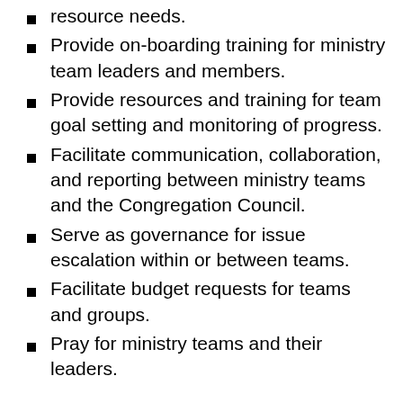resource needs.
Provide on-boarding training for ministry team leaders and members.
Provide resources and training for team goal setting and monitoring of progress.
Facilitate communication, collaboration, and reporting between ministry teams and the Congregation Council.
Serve as governance for issue escalation within or between teams.
Facilitate budget requests for teams and groups.
Pray for ministry teams and their leaders.
Get involved